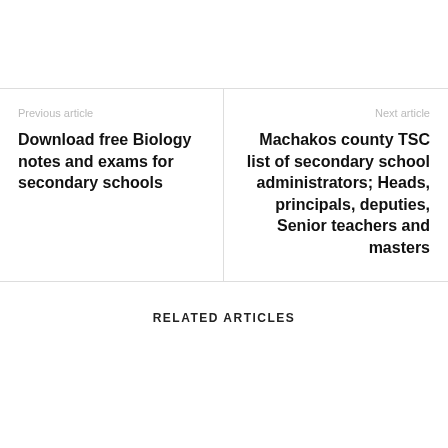Previous article
Download free Biology notes and exams for secondary schools
Next article
Machakos county TSC list of secondary school administrators; Heads, principals, deputies, Senior teachers and masters
RELATED ARTICLES